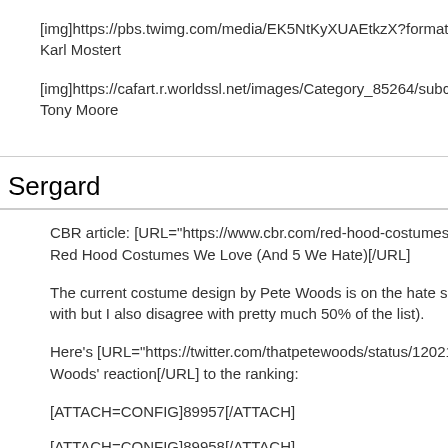[img]https://pbs.twimg.com/media/EK5NtKyXUAEtkzX?format=jpg&
Karl Mostert
[img]https://cafart.r.worldssl.net/images/Category_85264/subcat_12...
Tony Moore
Sergard
CBR article: [URL="https://www.cbr.com/red-hood-costumes-love-ha...
Red Hood Costumes We Love (And 5 We Hate)[/URL]
The current costume design by Pete Woods is on the hate side (whi...
with but I also disagree with pretty much 50% of the list).
Here's [URL="https://twitter.com/thatpetewoods/status/1202135263...
Woods' reaction[/URL] to the ranking:
[ATTACH=CONFIG]89957[/ATTACH]
[ATTACH=CONFIG]89958[/ATTACH]
[ATTACH=CONFIG]89959[/ATTACH]